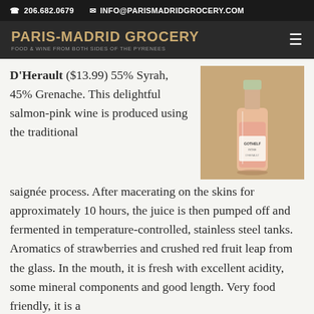206.682.0679   INFO@PARISMADRIDGROCERY.COM
PARIS-MADRID GROCERY
FOOD & WINE FROM BOTH SIDES OF THE PYRENEES
D'Herault ($13.99) 55% Syrah, 45% Grenache. This delightful salmon-pink wine is produced using the traditional saignée process. After macerating on the skins for approximately 10 hours, the juice is then pumped off and fermented in temperature-controlled, stainless steel tanks. Aromatics of strawberries and crushed red fruit leap from the glass. In the mouth, it is fresh with excellent acidity, some mineral components and good length. Very food friendly, it is a
[Figure (photo): A bottle of rosé wine (Gothelf label) with salmon-pink wine inside, photographed against a wooden background in a store setting.]